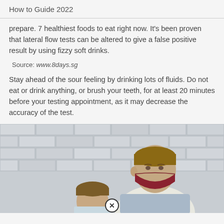How to Guide 2022
prepare. 7 healthiest foods to eat right now. It's been proven that lateral flow tests can be altered to give a false positive result by using fizzy soft drinks.
Source: www.8days.sg
Stay ahead of the sour feeling by drinking lots of fluids. Do not eat or drink anything, or brush your teeth, for at least 20 minutes before your testing appointment, as it may decrease the accuracy of the test.
[Figure (photo): A young man wearing a dark red/maroon face mask leaning over a child, with a brick wall in the background. A close button (circled X) is visible at the bottom center of the image.]